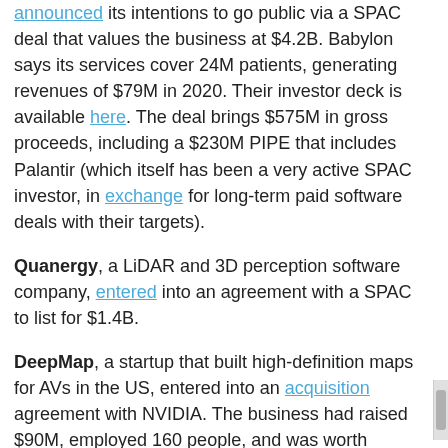announced its intentions to go public via a SPAC deal that values the business at $4.2B. Babylon says its services cover 24M patients, generating revenues of $79M in 2020. Their investor deck is available here. The deal brings $575M in gross proceeds, including a $230M PIPE that includes Palantir (which itself has been a very active SPAC investor, in exchange for long-term paid software deals with their targets).
Quanergy, a LiDAR and 3D perception software company, entered into an agreement with a SPAC to list for $1.4B.
DeepMap, a startup that built high-definition maps for AVs in the US, entered into an acquisition agreement with NVIDIA. The business had raised $90M, employed 160 people, and was worth $450M on paper - the acquisition price was not disclosed. The strategy here from NVIDIA is to integrate DeepMap's capabilities into its NVIDIA DRIVE suite, which includes training and validation systems so...